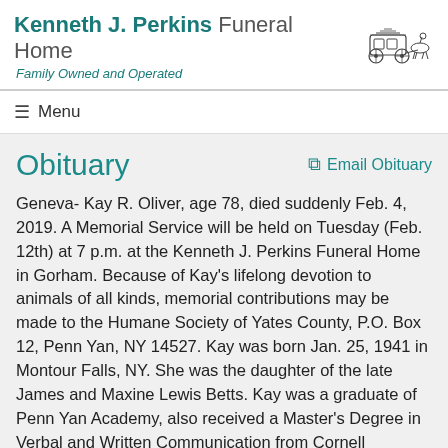Kenneth J. Perkins Funeral Home – Family Owned and Operated
Menu
Obituary
Email Obituary
Geneva- Kay R. Oliver, age 78, died suddenly Feb. 4, 2019. A Memorial Service will be held on Tuesday (Feb. 12th) at 7 p.m. at the Kenneth J. Perkins Funeral Home in Gorham. Because of Kay's lifelong devotion to animals of all kinds, memorial contributions may be made to the Humane Society of Yates County, P.O. Box 12, Penn Yan, NY 14527. Kay was born Jan. 25, 1941 in Montour Falls, NY. She was the daughter of the late James and Maxine Lewis Betts. Kay was a graduate of Penn Yan Academy, also received a Master's Degree in Verbal and Written Communication from Cornell University. Kay lived in